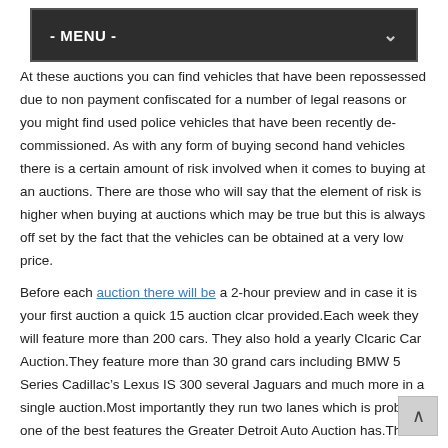- MENU -
At these auctions you can find vehicles that have been repossessed due to non payment confiscated for a number of legal reasons or you might find used police vehicles that have been recently de-commissioned. As with any form of buying second hand vehicles there is a certain amount of risk involved when it comes to buying at an auctions. There are those who will say that the element of risk is higher when buying at auctions which may be true but this is always off set by the fact that the vehicles can be obtained at a very low price.
Before each auction there will be a 2-hour preview and in case it is your first auction a quick 15 auction clcar provided.Each week they will feature more than 200 cars. They also hold a yearly Clcaric Car Auction.They feature more than 30 grand cars including BMW 5 Series Cadillac’s Lexus IS 300 several Jaguars and much more in a single auction.Most importantly they run two lanes which is probably one of the best features the Greater Detroit Auto Auction has.This means if two cars